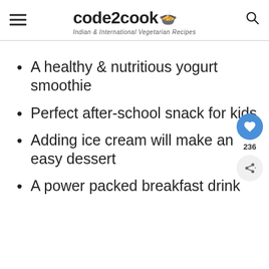code2cook — Indian & International Vegetarian Recipes
A healthy & nutritious yogurt smoothie
Perfect after-school snack for kids
Adding ice cream will make an easy dessert
A power packed breakfast drink